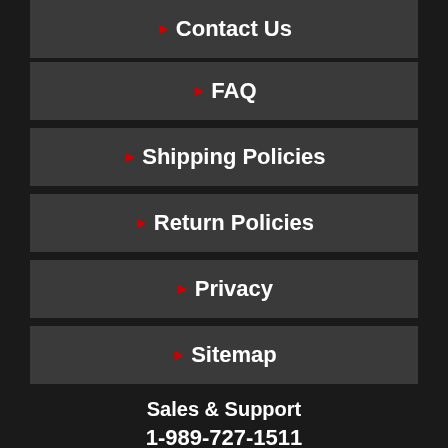Contact Us
FAQ
Shipping Policies
Return Policies
Privacy
Sitemap
Sales & Support
1-989-727-1511
info@1autoshop.com
For orders and help with any product
Monday-Friday: 10am-5pm (EST)